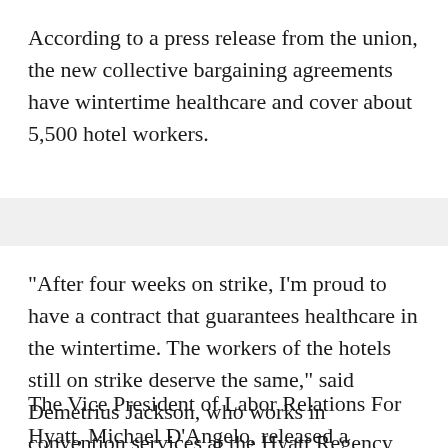According to a press release from the union, the new collective bargaining agreements have wintertime healthcare and cover about 5,500 hotel workers.
"After four weeks on strike, I'm proud to have a contract that guarantees healthcare in the wintertime. The workers of the hotels still on strike deserve the same," said Demetrius Jackson, who works in convention services at the Hyatt Regency Chicago.
The Vice President of Labor Relations For Hyatt, Michael D'Angelo, released a statement saying, "We are pleased to announce that Hyatt Regency